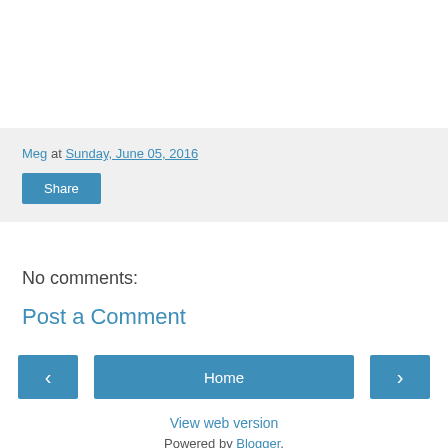Meg at Sunday, June 05, 2016
Share
No comments:
Post a Comment
‹ Home ›
View web version
Powered by Blogger.